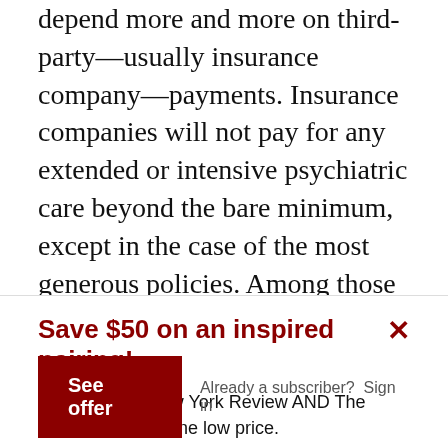depend more and more on third-party—usually insurance company—payments. Insurance companies will not pay for any extended or intensive psychiatric care beyond the bare minimum, except in the case of the most generous policies. Among those segments of the population that can pay for treatment without external supplement, psychoanalysis remains desired. Elsewhere in the world, where economics are different, in Germany for example, and in many
Save $50 on an inspired pairing!
Get both The New York Review AND The Paris Review at one low price.
See offer
Already a subscriber?  Sign in